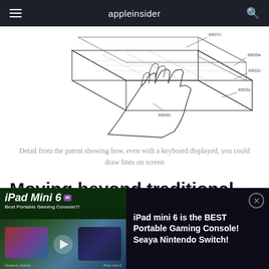appleinsider
[Figure (illustration): Patent diagram showing a hand touching/drawing on a layered device surface with component labels 4807c, 4809a, 4802c, 4804c, 4803c]
Detail from the patent showing how, even with a keyboard displayed, you could draw lines on screen
Moving beyond traditional trackpad uses
Apple has even bigger plans,
[Figure (screenshot): Advertisement banner for iPad Mini 6 video: 'iPad Mini 6 Best Portable Gaming Console?!' with AI badge. Text overlay reads: 'iPad mini 6 is the BEST Portable Gaming Console! Seaya Nintendo Switch!']